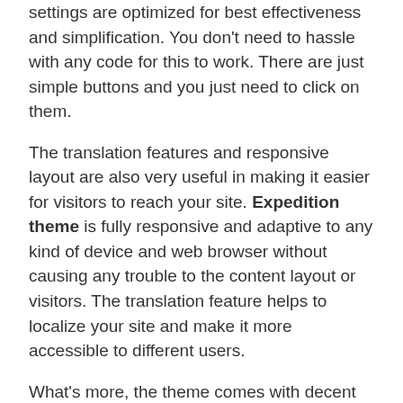settings are optimized for best effectiveness and simplification. You don't need to hassle with any code for this to work. There are just simple buttons and you just need to click on them.
The translation features and responsive layout are also very useful in making it easier for visitors to reach your site. Expedition theme is fully responsive and adaptive to any kind of device and web browser without causing any trouble to the content layout or visitors. The translation feature helps to localize your site and make it more accessible to different users.
What's more, the theme comes with decent customer support from the supplier and regular update to make the theme smoother and more reliable. For directory